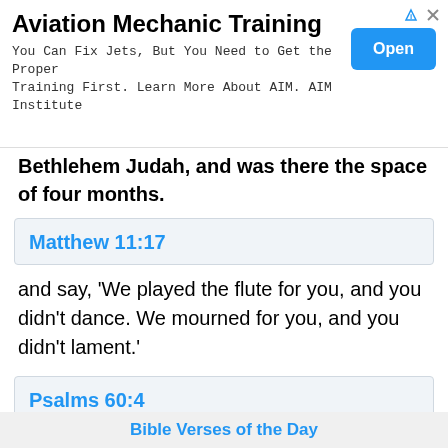[Figure (screenshot): Advertisement banner for Aviation Mechanic Training with title, body text, and blue Open button]
Bethlehem Judah, and was there the space of four months.
Matthew 11:17
and say, 'We played the flute for you, and you didn't dance. We mourned for you, and you didn't lament.'
Psalms 60:4
You have given a banner to those who fear you, that it may be displayed because of the truth.
Bible Verses of the Day